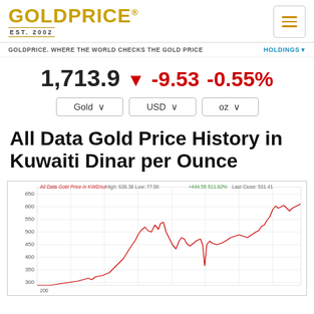GOLDPRICE® EST. 2002
GOLDPRICE. WHERE THE WORLD CHECKS THE GOLD PRICE | HOLDINGS
1,713.9 ▼ -9.53 -0.55%
Gold | USD | oz
All Data Gold Price History in Kuwaiti Dinar per Ounce
[Figure (continuous-plot): All Data Gold Price in KWD/oz line chart. High: 628.38 Low: 77.06 +444.55 511.82%. Last Close: 531.41. The chart shows gold price in KWD per ounce rising from around 77 in early history, peaking near 620-628, then settling around 531. Y-axis runs from 200 to 650. The line is red.]